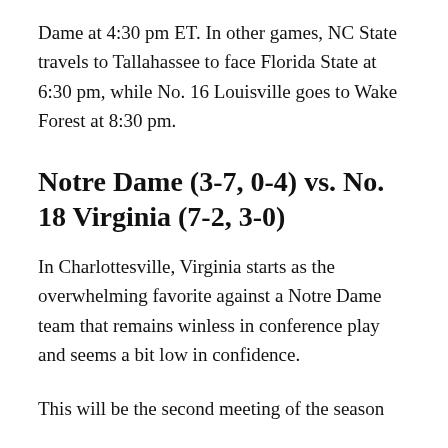Dame at 4:30 pm ET. In other games, NC State travels to Tallahassee to face Florida State at 6:30 pm, while No. 16 Louisville goes to Wake Forest at 8:30 pm.
Notre Dame (3-7, 0-4) vs. No. 18 Virginia (7-2, 3-0)
In Charlottesville, Virginia starts as the overwhelming favorite against a Notre Dame team that remains winless in conference play and seems a bit low in confidence.
This will be the second meeting of the season